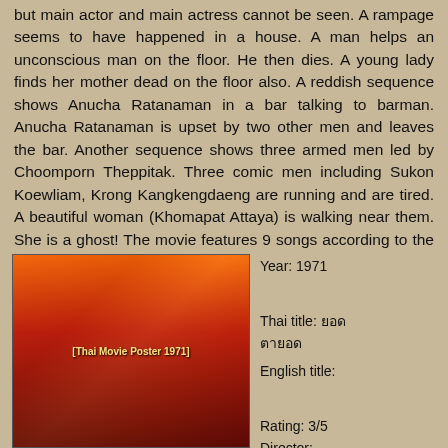but main actor and main actress cannot be seen. A rampage seems to have happened in a house. A man helps an unconscious man on the floor. He then dies. A young lady finds her mother dead on the floor also. A reddish sequence shows Anucha Ratanaman in a bar talking to barman. Anucha Ratanaman is upset by two other men and leaves the bar. Another sequence shows three armed men led by Choomporn Theppitak. Three comic men including Sukon Koewliam, Krong Kangkengdaeng are running and are tired. A beautiful woman (Khomapat Attaya) is walking near them. She is a ghost! The movie features 9 songs according to the movie poster.
[Figure (photo): Thai movie poster from 1971 featuring action scenes with a man holding a gun, a woman in red, and a blue superhero-like figure on a motorcycle]
Year: 1971

Thai title: ยอดตายอด
English title:

Rating: 3/5
Director:

Main actor: Mitr